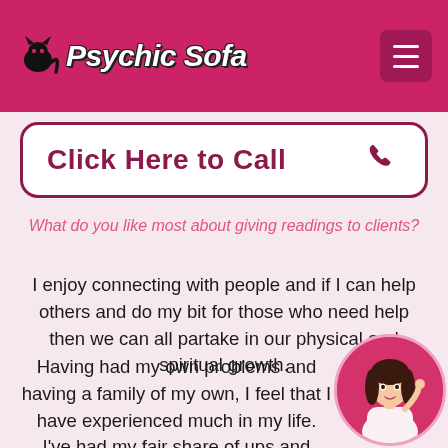Psychic Sofa
Click Here to Call
What do you like most about giving readings to clients?
I enjoy connecting with people and if I can help others and do my bit for those who need help then we can all partake in our physical and spiritual growth.
Having had my own problems and having a family of my own, I feel that I have experienced much in my life. I've had my fair share of ups and downs and having also been helped by others with their spiritual gifts and psychic ability it is my turn to pass on the knowledge and